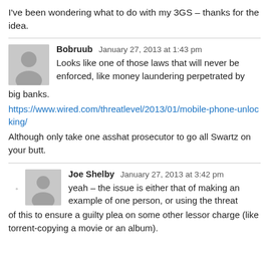I've been wondering what to do with my 3GS – thanks for the idea.
Bobruub  January 27, 2013 at 1:43 pm
Looks like one of those laws that will never be enforced, like money laundering perpetrated by big banks.
https://www.wired.com/threatlevel/2013/01/mobile-phone-unlocking/
Although only take one asshat prosecutor to go all Swartz on your butt.
Joe Shelby  January 27, 2013 at 3:42 pm
yeah – the issue is either that of making an example of one person, or using the threat of this to ensure a guilty plea on some other lessor charge (like torrent-copying a movie or an album).